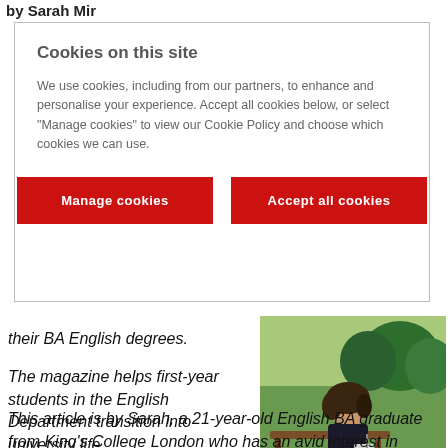by Sarah Mir
Cookies on this site
We use cookies, including from our partners, to enhance and personalise your experience. Accept all cookies below, or select "Manage cookies" to view our Cookie Policy and choose which cookies we can use.
[Manage cookies] [Accept all cookies]
their BA English degrees.
The magazine helps first-year students in the English Department transition into university life.
[Figure (photo): Photo of a young woman with curly hair sitting outdoors on a wooden bench/table in a sunny park, holding an orange drink]
This article is by Sarah, a 21-year-old English BA graduate from King's College London who has an avid interest in writing/editorial work.